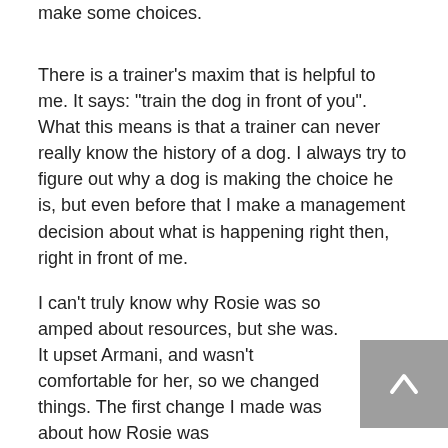make some choices.
There is a trainer’s maxim that is helpful to me. It says: “train the dog in front of you”. What this means is that a trainer can never really know the history of a dog. I always try to figure out why a dog is making the choice he is, but even before that I make a management decision about what is happening right then, right in front of me.
I can’t truly know why Rosie was so amped about resources, but she was. It upset Armani, and wasn’t comfortable for her, so we changed things. The first change I made was about how Rosie was